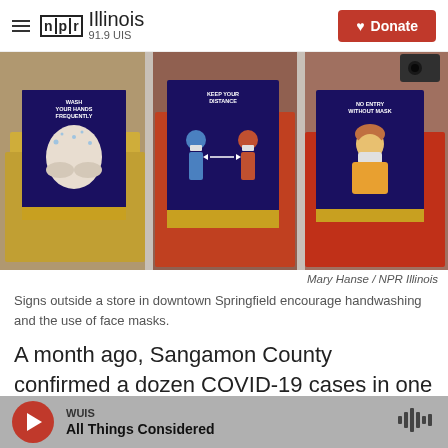NPR Illinois 91.9 UIS
[Figure (photo): Three COVID-19 safety signs in store windows: 'Wash Your Hands Frequently', 'Keep Your Distance', and 'No Entry Without Mask', with colorful fabric/clothing visible in background]
Mary Hanse / NPR Illinois
Signs outside a store in downtown Springfield encourage handwashing and the use of face masks.
A month ago, Sangamon County confirmed a dozen COVID-19 cases in one week. So far this week, more than 50 people have tested positive.
WUIS All Things Considered